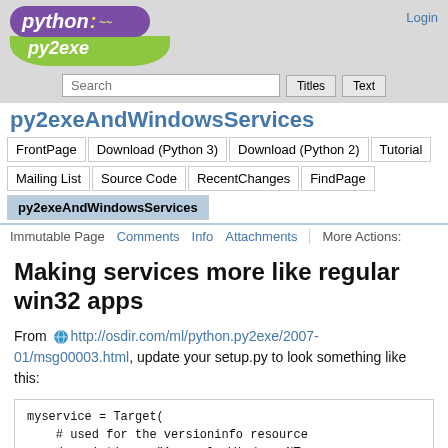[Figure (logo): Python py2exe logo - purple python logo on top, green py2exe logo below]
Login
Search bar with Titles and Text buttons
py2exeAndWindowsServices
FrontPage
Download (Python 3)
Download (Python 2)
Tutorial
Mailing List
Source Code
RecentChanges
FindPage
py2exeAndWindowsServices
Immutable Page  Comments  Info  Attachments  More Actions:
Making services more like regular win32 apps
From http://osdir.com/ml/python.py2exe/2007-01/msg00003.html, update your setup.py to look something like this:
myservice = Target(
    # used for the versioninfo resource
    description = "A sample Windows NT